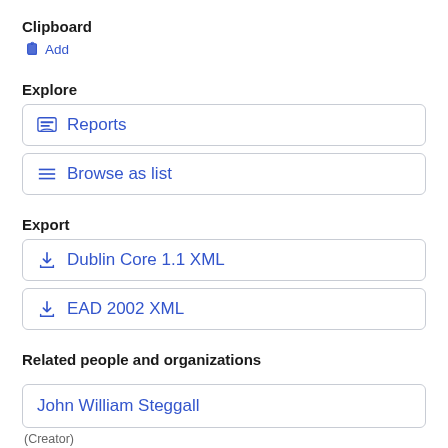Clipboard
Add
Explore
Reports
Browse as list
Export
Dublin Core 1.1 XML
EAD 2002 XML
Related people and organizations
John William Steggall
(Creator)